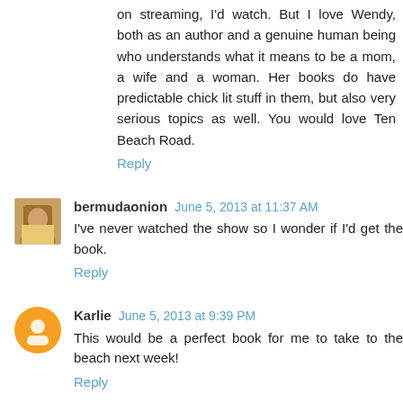on streaming, I'd watch. But I love Wendy, both as an author and a genuine human being who understands what it means to be a mom, a wife and a woman. Her books do have predictable chick lit stuff in them, but also very serious topics as well. You would love Ten Beach Road.
Reply
bermudaonion  June 5, 2013 at 11:37 AM
I've never watched the show so I wonder if I'd get the book.
Reply
Karlie  June 5, 2013 at 9:39 PM
This would be a perfect book for me to take to the beach next week!
Reply
Karlie  June 5, 2013 at 9:40 PM